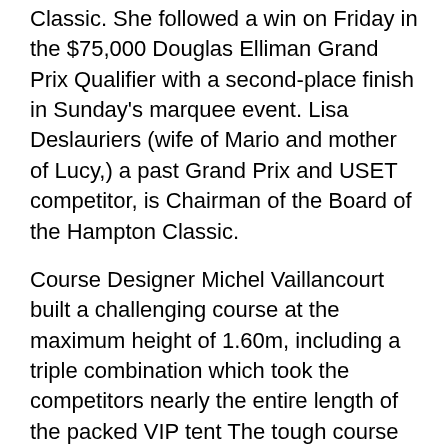Classic. She followed a win on Friday in the $75,000 Douglas Elliman Grand Prix Qualifier with a second-place finish in Sunday's marquee event. Lisa Deslauriers (wife of Mario and mother of Lucy,) a past Grand Prix and USET competitor, is Chairman of the Board of the Hampton Classic.
Course Designer Michel Vaillancourt built a challenging course at the maximum height of 1.60m, including a triple combination which took the competitors nearly the entire length of the packed VIP tent The tough course was a true test of ability, resulting in just three of 39 combinations progressing to a jump-off round.
The start order for the class was determined by the final placings in Friday's $75,000 Douglas Elliman Grand Prix Qualifier, which meant the better you did Friday, the later in the order you